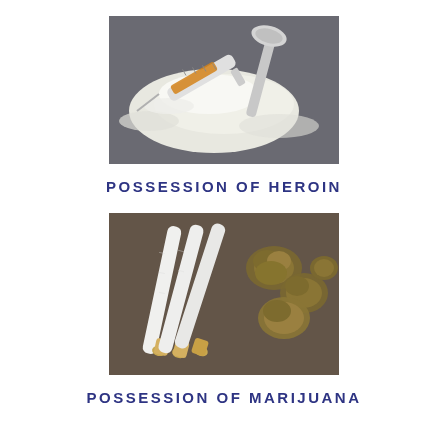[Figure (photo): Close-up photo of white powder (heroin), a syringe with amber liquid, and a metal spoon on a dark surface.]
POSSESSION OF HEROIN
[Figure (photo): Close-up photo of three rolled marijuana joints and cannabis buds on a dark surface.]
POSSESSION OF MARIJUANA